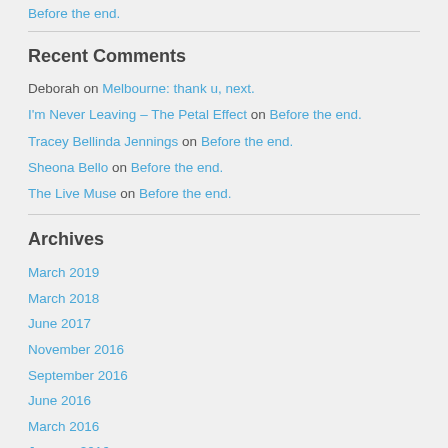Before the end.
Recent Comments
Deborah on Melbourne: thank u, next.
I'm Never Leaving – The Petal Effect on Before the end.
Tracey Bellinda Jennings on Before the end.
Sheona Bello on Before the end.
The Live Muse on Before the end.
Archives
March 2019
March 2018
June 2017
November 2016
September 2016
June 2016
March 2016
January 2016
December 2015
September 2015
August 2015